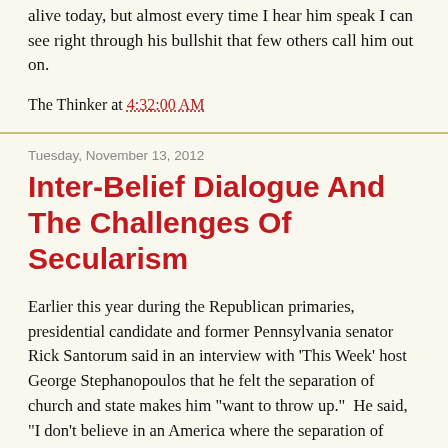alive today, but almost every time I hear him speak I can see right through his bullshit that few others call him out on.
The Thinker at 4:32:00 AM
Tuesday, November 13, 2012
Inter-Belief Dialogue And The Challenges Of Secularism
Earlier this year during the Republican primaries, presidential candidate and former Pennsylvania senator Rick Santorum said in an interview with 'This Week' host George Stephanopoulos that he felt the separation of church and state makes him "want to throw up."  He said, "I don't believe in an America where the separation of church and state are absolute", "The idea that the church can have no influence or no involvement in the operation of the state is absolutely antithetical to the objectives and vision of our country."